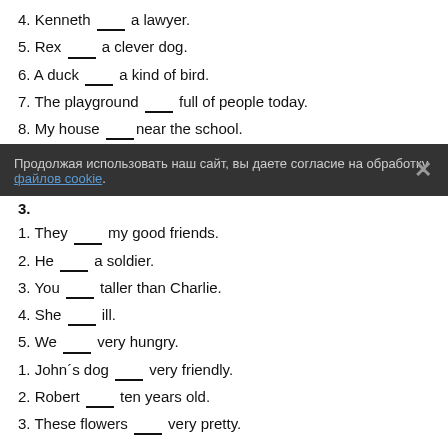4. Kenneth ___ a lawyer.
5. Rex ___ a clever dog.
6. A duck ___ a kind of bird.
7. The playground ___ full of people today.
8. My house ___near the school.
Продолжая использовать наш сайт, вы даете согласие на обработку файлов cookie.
3.
1. They ___ my good friends.
2. He ___ a soldier.
3. You ___ taller than Charlie.
4. She ___ ill.
5. We ___ very hungry.
1. John´s dog ___ very friendly.
2. Robert ___ ten years old.
3. These flowers ___ very pretty.